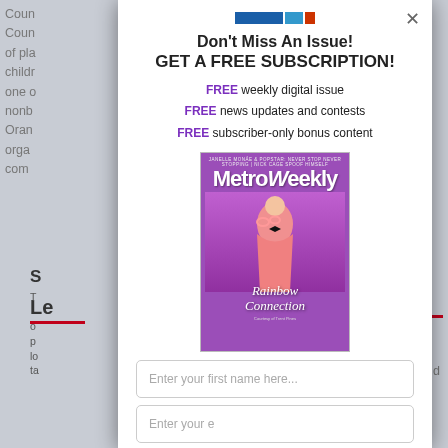[Figure (screenshot): Background webpage content partially visible behind modal popup, showing gray page with partial text about County/Court, and section headers including 'Le' with red underline]
Don't Miss An Issue!
GET A FREE SUBSCRIPTION!
FREE weekly digital issue
FREE news updates and contests
FREE subscriber-only bonus content
[Figure (photo): Metro Weekly magazine cover showing a man in a pink sequined tuxedo jacket with black bow tie, holding pink cat-eye glasses, with text 'Rainbow Connection' in white script]
Enter your first name here...
Enter your email...